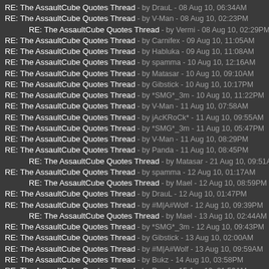RE: The AssaultCube Quotes Thread - by DrauL - 08 Aug 10, 06:34AM
RE: The AssaultCube Quotes Thread - by V-Man - 08 Aug 10, 02:23PM
RE: The AssaultCube Quotes Thread - by Vermi - 08 Aug 10, 02:29PM
RE: The AssaultCube Quotes Thread - by Carnifex - 09 Aug 10, 11:05AM
RE: The AssaultCube Quotes Thread - by Habluka - 09 Aug 10, 11:08AM
RE: The AssaultCube Quotes Thread - by spamma - 10 Aug 10, 12:16AM
RE: The AssaultCube Quotes Thread - by Matasar - 10 Aug 10, 09:10AM
RE: The AssaultCube Quotes Thread - by Gibstick - 10 Aug 10, 10:17PM
RE: The AssaultCube Quotes Thread - by *SMG*_3m - 10 Aug 10, 11:22PM
RE: The AssaultCube Quotes Thread - by V-Man - 11 Aug 10, 07:58AM
RE: The AssaultCube Quotes Thread - by jAcKRoCk* - 11 Aug 10, 09:55AM
RE: The AssaultCube Quotes Thread - by *SMG*_3m - 11 Aug 10, 05:47PM
RE: The AssaultCube Quotes Thread - by V-Man - 11 Aug 10, 08:29PM
RE: The AssaultCube Quotes Thread - by Panda - 11 Aug 10, 08:45PM
RE: The AssaultCube Quotes Thread - by Matasar - 21 Aug 10, 09:51AM
RE: The AssaultCube Quotes Thread - by spamma - 12 Aug 10, 01:17AM
RE: The AssaultCube Quotes Thread - by Mael - 12 Aug 10, 08:59PM
RE: The AssaultCube Quotes Thread - by DrauL - 12 Aug 10, 01:47PM
RE: The AssaultCube Quotes Thread - by #M|A#Wolf - 12 Aug 10, 09:39PM
RE: The AssaultCube Quotes Thread - by Mael - 13 Aug 10, 02:44AM
RE: The AssaultCube Quotes Thread - by *SMG*_3m - 12 Aug 10, 09:43PM
RE: The AssaultCube Quotes Thread - by Gibstick - 13 Aug 10, 02:00AM
RE: The AssaultCube Quotes Thread - by #M|A#Wolf - 13 Aug 10, 09:59AM
RE: The AssaultCube Quotes Thread - by Bukz - 14 Aug 10, 03:58PM
RE: The AssaultCube Quotes Thread - by DrauL - 15 Aug 10, 01:56AM